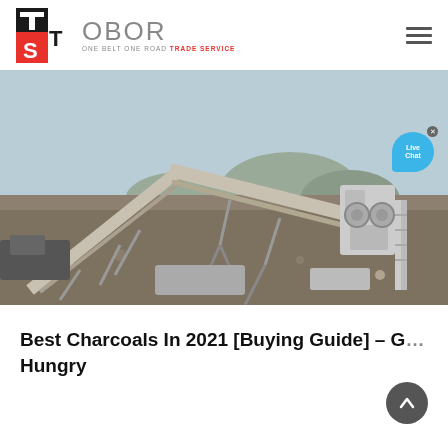OBOR — ONE BELT ONE ROAD TRADE SERVICE
[Figure (photo): Industrial mining/quarrying facility with conveyor belts, crushing equipment, and gravel piles in an arid landscape. A 'Live Chat' bubble overlay appears in the top-right corner.]
Best Charcoals In 2021 [Buying Guide] - G... Hungry